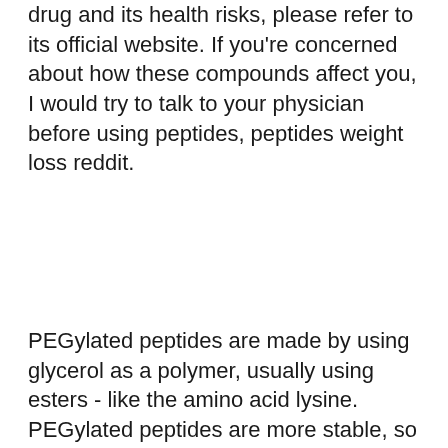drug and its health risks, please refer to its official website. If you're concerned about how these compounds affect you, I would try to talk to your physician before using peptides, peptides weight loss reddit.
PEGylated peptides are made by using glycerol as a polymer, usually using esters - like the amino acid lysine. PEGylated peptides are more stable, so they take longer to break down in the body and can be used as supplements at any time, cjc 1295 dosage for fat loss.
Phenoxyacetam or phenylacetylpropanate is the name of a number of different peptides. If you take a product containing one of these, I recommend you ask the company where they make it about how much you can expect to benefit from each capsule, loss